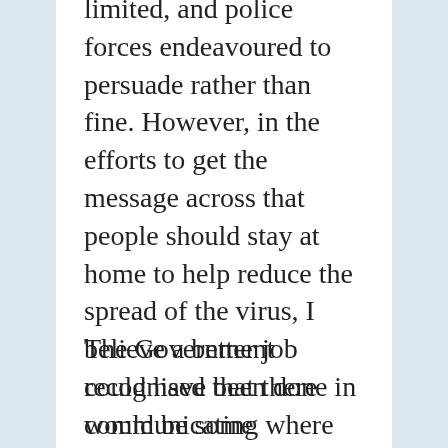limited, and police forces endeavoured to persuade rather than fine. However, in the efforts to get the message across that people should stay at home to help reduce the spread of the virus, I believe a better job could have been done in communicating where there was flexibility in the lockdown guidance.
The Government recognised that there would be some exceptional